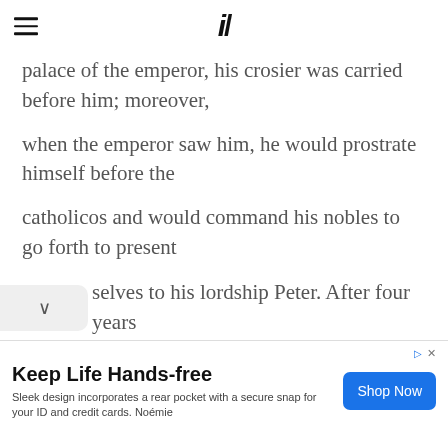iA (logo with hamburger menu)
palace of the emperor, his crosier was carried before him; moreover,
when the emperor saw him, he would prostrate himself before the
catholicos and would command his nobles to go forth to present
selves to his lordship Peter. After four years
[Figure (other): Advertisement banner: Keep Life Hands-free. Sleek design incorporates a rear pocket with a secure snap for your ID and credit cards. Noémie. Shop Now button.]